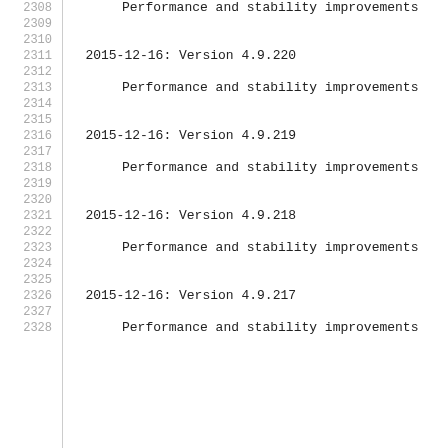2308    Performance and stability improvements
2309
2310
2311    2015-12-16: Version 4.9.220
2312
2313        Performance and stability improvements
2314
2315
2316    2015-12-16: Version 4.9.219
2317
2318        Performance and stability improvements
2319
2320
2321    2015-12-16: Version 4.9.218
2322
2323        Performance and stability improvements
2324
2325
2326    2015-12-16: Version 4.9.217
2327
2328        Performance and stability improvements